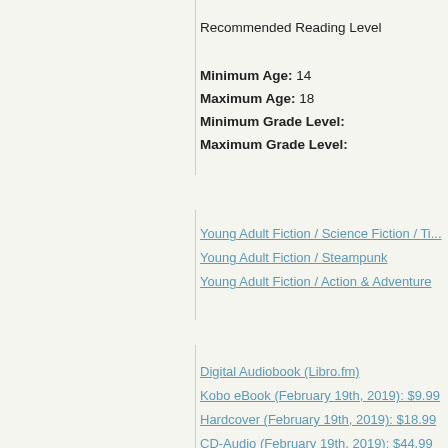Recommended Reading Level
Minimum Age: 14
Maximum Age: 18
Minimum Grade Level:
Maximum Grade Level:
Young Adult Fiction / Science Fiction / Ti...
Young Adult Fiction / Steampunk
Young Adult Fiction / Action & Adventure
Digital Audiobook (Libro.fm)
Kobo eBook (February 19th, 2019): $9.99
Hardcover (February 19th, 2019): $18.99
CD-Audio (February 19th, 2019): $44.99